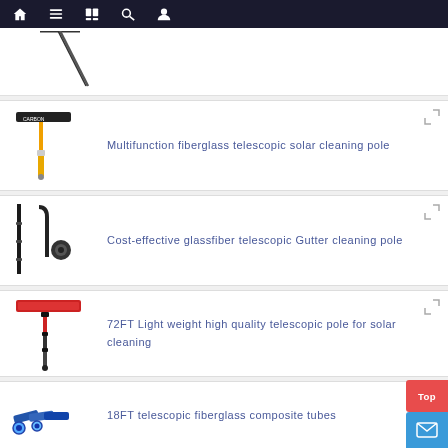Navigation bar with home, menu, catalog, search, user icons
[Figure (photo): Partial product image — telescopic pole with squeegee head, top portion cut off]
[Figure (photo): Multifunction fiberglass telescopic solar cleaning pole with T-bar brush head and yellow pole]
Multifunction fiberglass telescopic solar cleaning pole
[Figure (photo): Cost-effective glassfiber telescopic Gutter cleaning pole with black pole segments and accessories]
Cost-effective glassfiber telescopic Gutter cleaning pole
[Figure (photo): 72FT Light weight high quality telescopic pole for solar cleaning with red brush head]
72FT Light weight high quality telescopic pole for solar cleaning
[Figure (photo): 18FT telescopic fiberglass composite tubes product image, partial view]
18FT telescopic fiberglass composite tubes